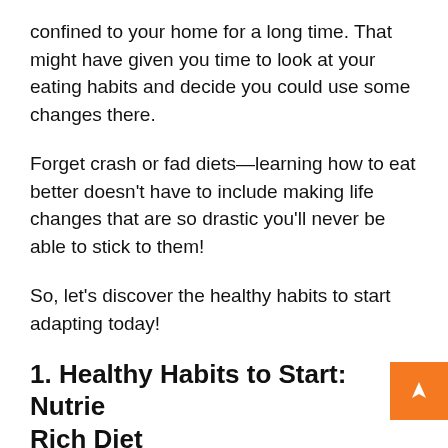confined to your home for a long time. That might have given you time to look at your eating habits and decide you could use some changes there.
Forget crash or fad diets—learning how to eat better doesn't have to include making life changes that are so drastic you'll never be able to stick to them!
So, let's discover the healthy habits to start adapting today!
1. Healthy Habits to Start: Nutrie… Rich Diet